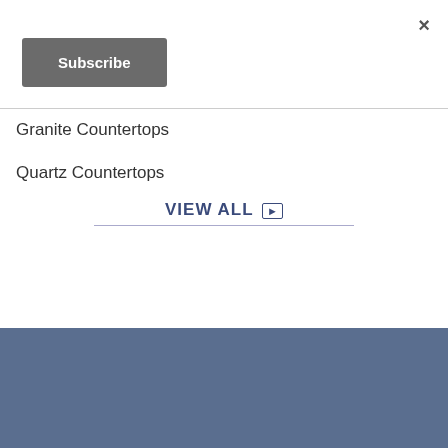×
Subscribe
Granite Countertops
Quartz Countertops
VIEW ALL ▶